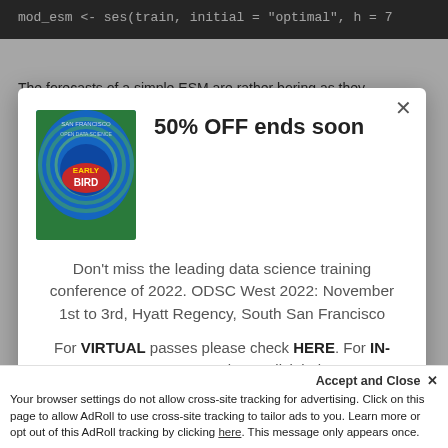mod_esm <- ses(train, initial = "optimal", h = 7
The forecasts of a simple ESM are rather boring as they
[Figure (screenshot): Modal popup advertisement for ODSC West 2022 conference with Early Bird logo, 50% OFF promotion, conference details, and REGISTER NOW button]
50% OFF ends soon
Don't miss the leading data science training conference of 2022. ODSC West 2022: November 1st to 3rd, Hyatt Regency, South San Francisco
For VIRTUAL passes please check HERE. For IN-PERSON passes please click below.
REGISTER NOW
Accept and Close ✕
Your browser settings do not allow cross-site tracking for advertising. Click on this page to allow AdRoll to use cross-site tracking to tailor ads to you. Learn more or opt out of this AdRoll tracking by clicking here. This message only appears once.